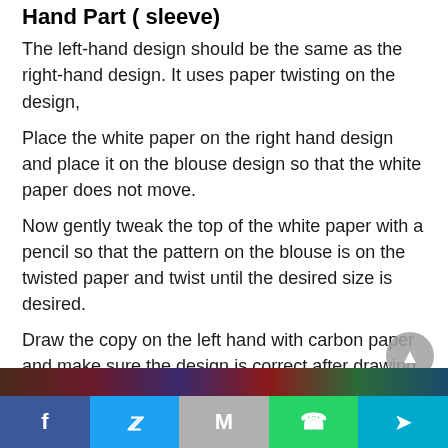Hand Part ( sleeve)
The left-hand design should be the same as the right-hand design. It uses paper twisting on the design,
Place the white paper on the right hand design and place it on the blouse design so that the white paper does not move.
Now gently tweak the top of the white paper with a pencil so that the pattern on the blouse is on the twisted paper and twist until the desired size is desired.
Draw the copy on the left hand with carbon paper and make sure the design is correct after drawing. Now The Blouse Design... is ready.
[Figure (photo): Partial view of colorful craft/blouse design materials at the bottom of the page]
Facebook | Twitter | Gmail | WhatsApp | Share